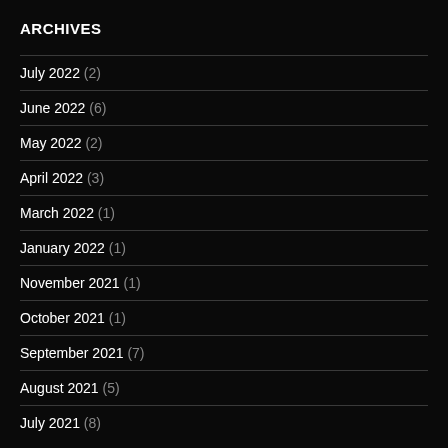ARCHIVES
July 2022 (2)
June 2022 (6)
May 2022 (2)
April 2022 (3)
March 2022 (1)
January 2022 (1)
November 2021 (1)
October 2021 (1)
September 2021 (7)
August 2021 (5)
July 2021 (8)